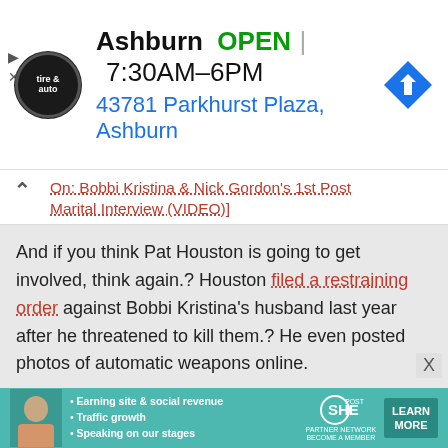[Figure (screenshot): Top advertisement banner for Virginia Tire & Auto: Ashburn location, OPEN 7:30AM–6PM, 43781 Parkhurst Plaza Ashburn, with navigation arrow icon]
On: Bobbi Kristina & Nick Gordon's 1st Post Marital Interview (VIDEO)]
And if you think Pat Houston is going to get involved, think again.? Houston filed a restraining order against Bobbi Kristina's husband last year after he threatened to kill them.? He even posted photos of automatic weapons online.
[READ: Nick Gordon sends Ominous Message to Houston Family? ]
Last Summer, Bobbi Kristina posted (and deleted) the
[Figure (screenshot): Bottom advertisement banner for SHE Partner Network with woman photo and Learn More button. Bullet points: Earning site & social revenue, Traffic growth, Speaking on our stages.]